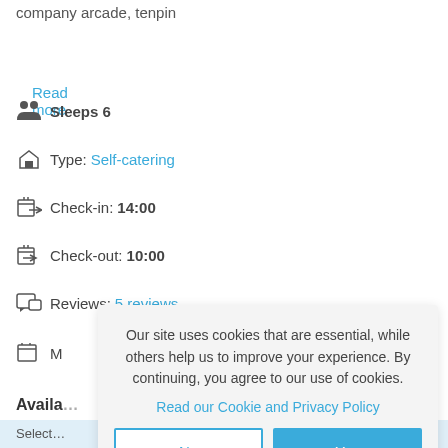company arcade, tenpin
Read more
Sleeps 6
Type: Self-catering
Check-in: 14:00
Check-out: 10:00
Reviews: 5 reviews
M...
Availa...
Select...
Check...
Rooms
[Figure (screenshot): Cookie consent modal overlay with text: Our site uses cookies that are essential, while others help us to improve your experience. By continuing, you agree to our use of cookies. Read our Cookie and Privacy Policy. Buttons: No and Yes.]